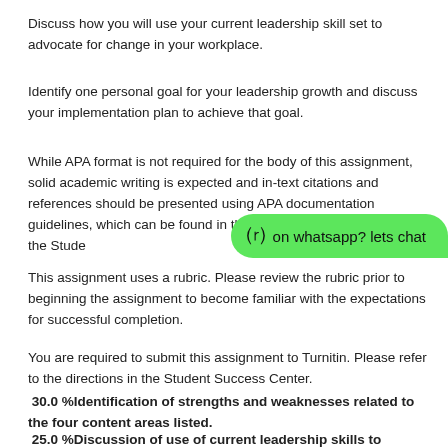Discuss how you will use your current leadership skill set to advocate for change in your workplace.
Identify one personal goal for your leadership growth and discuss your implementation plan to achieve that goal.
While APA format is not required for the body of this assignment, solid academic writing is expected and in-text citations and references should be presented using APA documentation guidelines, which can be found in the APA Style Guide, located in the Student Success Center.
on whatsapp? lets chat
This assignment uses a rubric. Please review the rubric prior to beginning the assignment to become familiar with the expectations for successful completion.
You are required to submit this assignment to Turnitin. Please refer to the directions in the Student Success Center.
30.0 %Identification of strengths and weaknesses related to the four content areas listed.
25.0 %Discussion of use of current leadership skills to advocate